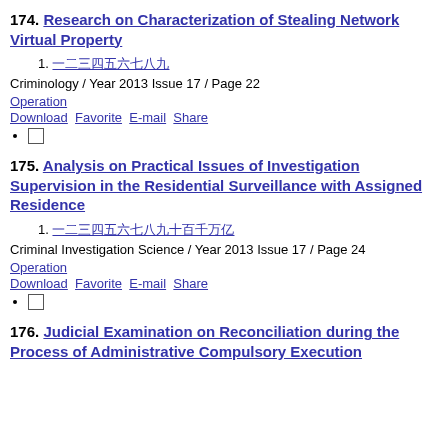174. Research on Characterization of Stealing Network Virtual Property
1. [Chinese characters]
Criminology / Year 2013 Issue 17 / Page 22
Operation
Download  Favorite  E-mail  Share
checkbox
175. Analysis on Practical Issues of Investigation Supervision in the Residential Surveillance with Assigned Residence
1. [Chinese characters]
Criminal Investigation Science / Year 2013 Issue 17 / Page 24
Operation
Download  Favorite  E-mail  Share
checkbox
176. Judicial Examination on Reconciliation during the Process of Administrative Compulsory Execution